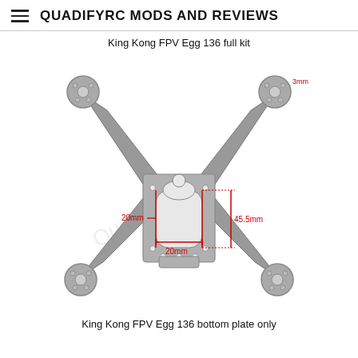QUADIFYRC MODS AND REVIEWS
King Kong FPV Egg 136 full kit
[Figure (photo): King Kong FPV Egg 136 drone bottom plate (carbon fiber X-frame) with red measurement annotations: 20mm width marking on left side of center opening, 45.5mm height marking on right side of center opening, 20mm width marking across bottom of center opening. A small '3mm' label appears at the top-right motor mount. A faint watermark is visible in the background.]
King Kong FPV Egg 136 bottom plate only